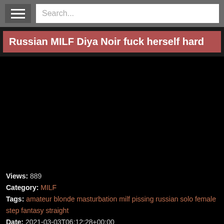☰  Search...
Russian MILF Diya Noir fuck herself hard
[Figure (other): Black video player area]
Views: 889
Category: MILF
Tags: amateur blonde masturbation milf pissing russian solo female step fantasy straight
Date: 2021-03-03T06:12:28+00:00